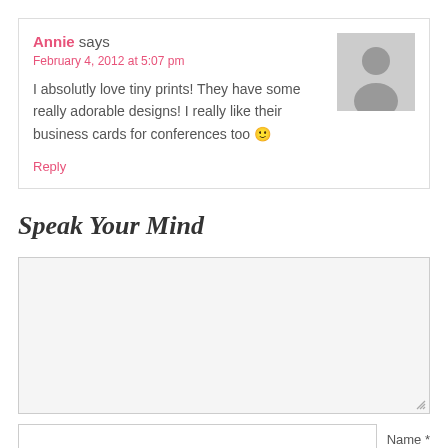Annie says
February 4, 2012 at 5:07 pm
I absolutly love tiny prints! They have some really adorable designs! I really like their business cards for conferences too 🙂
Reply
Speak Your Mind
[comment textarea]
Name *